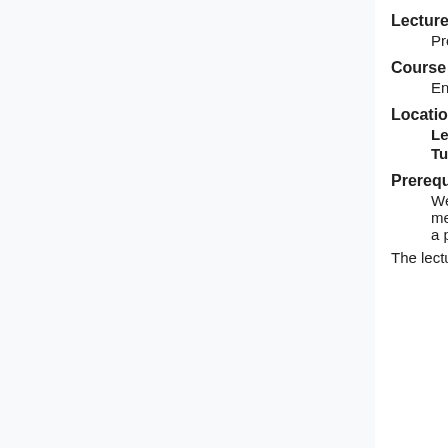Lecturer
Prof. Dr. Christian Holm
Course language
English
Location and Time
Lecture: Thu, 14:00 - 15:30; ICP, Allmandring 3, Seminar Room (room 01.079)
Tutorials: tba.
Prerequisites
We expect the participants to have basic knowledge in classical and statistical mechanics, thermodynamics, and partial differential equations, as well as knowledge of a programming language (Python and C).
The lecture is accompanied by hands-on tutorials which will take place in the CIP-